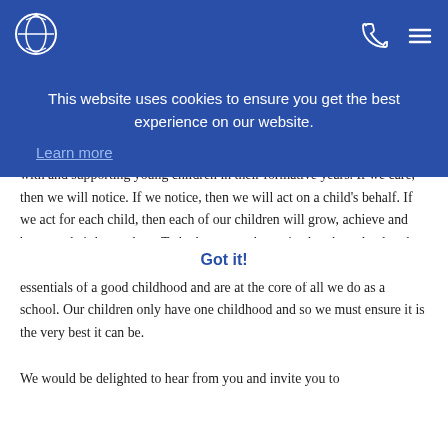Holmewood House school navigation bar with logo
springboard for their learning and the guarantee of their well-being.
[Figure (other): Cookie consent banner overlay with blue background. Text: 'This website uses cookies to ensure you get the best experience on our website.' Link: 'Learn more'. Button: 'Got it!']
Education at its very best is a deep act of care. At Holmewood House we care deeply and understand the privilege and responsibility of working with and supporting young children in their formative years. If we care, then we will notice. If we notice, then we will act on a child's behalf. If we act for each child, then each of our children will grow, achieve and become their best selves. To be known, to be noticed, to be valued, to be loved and cared for: fundamental things for all of us, these are the essentials of a good childhood and are at the core of all we do as a school. Our children only have one childhood and so we must ensure it is the very best it can be.
We would be delighted to hear from you and invite you to